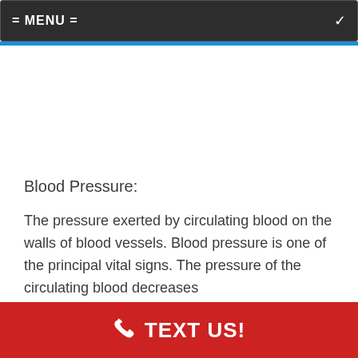= MENU =
Blood Pressure:
The pressure exerted by circulating blood on the walls of blood vessels. Blood pressure is one of the principal vital signs. The pressure of the circulating blood decreases
TEXT US!